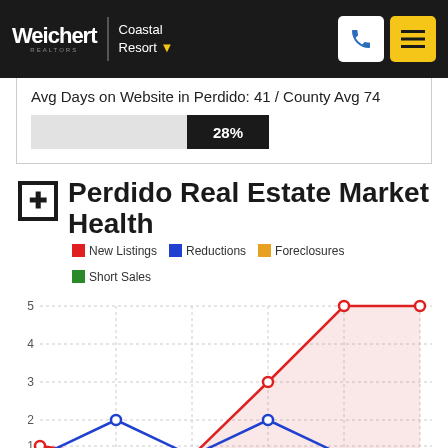Weichert REALTORS | Coastal Resort
Avg Days on Website in Perdido: 41 / County Avg 74
28%
Perdido Real Estate Market Health
New Listings  Reductions  Foreclosures  Short Sales
[Figure (line-chart): Perdido Real Estate Market Health]